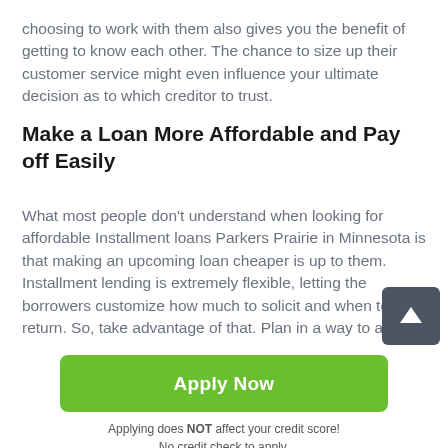choosing to work with them also gives you the benefit of getting to know each other. The chance to size up their customer service might even influence your ultimate decision as to which creditor to trust.
Make a Loan More Affordable and Pay off Easily
What most people don't understand when looking for affordable Installment loans Parkers Prairie in Minnesota is that making an upcoming loan cheaper is up to them. Installment lending is extremely flexible, letting the borrowers customize how much to solicit and when to return. So, take advantage of that. Plan in a way to apply
Apply Now
Applying does NOT affect your credit score!
No credit check to apply.